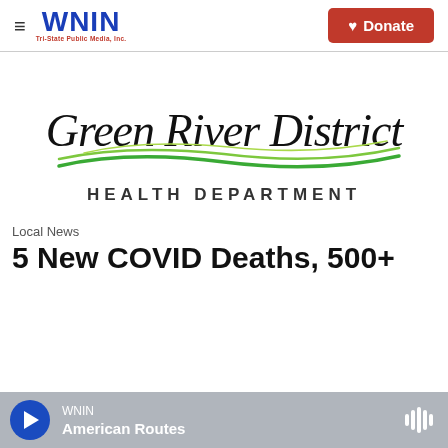WNIN Tri-State Public Media, Inc. | Donate
[Figure (logo): Green River District Health Department logo — cursive script text 'Green River District' in black with green wave swoosh beneath, and 'HEALTH DEPARTMENT' in spaced capital letters below]
Local News
5 New COVID Deaths, 500+
WNIN | American Routes